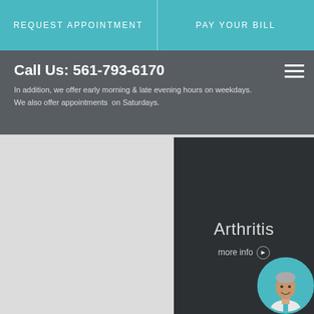REQUEST APPOINTMENT | PAY YOUR BILL
Call Us: 561-793-6170
In addition, we offer early morning & late evening hours on weekdays. We also offer appointments on Saturdays.
[Figure (other): Arthritis info card with dark background]
Arthritis more info
[Figure (other): Hammertoe info card with dark background]
Hammertoe more info
[Figure (photo): Doctor portrait in circular teal frame]